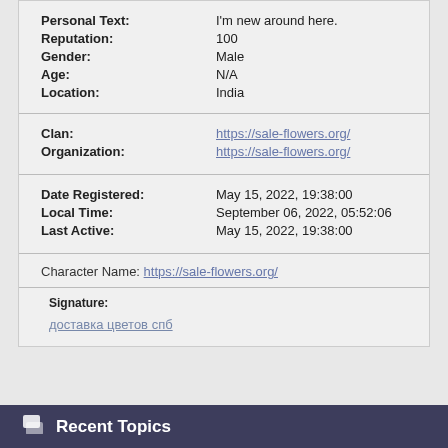Personal Text: I'm new around here.
Reputation: 100
Gender: Male
Age: N/A
Location: India
Clan: https://sale-flowers.org/
Organization: https://sale-flowers.org/
Date Registered: May 15, 2022, 19:38:00
Local Time: September 06, 2022, 05:52:06
Last Active: May 15, 2022, 19:38:00
Character Name: https://sale-flowers.org/
Signature: доставка цветов спб
Recent Topics